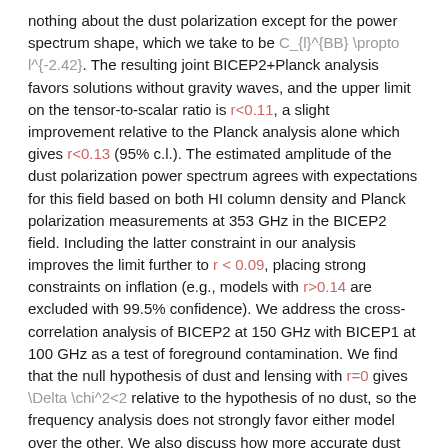nothing about the dust polarization except for the power spectrum shape, which we take to be C_{l}^{BB} \propto l^{-2.42}. The resulting joint BICEP2+Planck analysis favors solutions without gravity waves, and the upper limit on the tensor-to-scalar ratio is r<0.11, a slight improvement relative to the Planck analysis alone which gives r<0.13 (95% c.l.). The estimated amplitude of the dust polarization power spectrum agrees with expectations for this field based on both HI column density and Planck polarization measurements at 353 GHz in the BICEP2 field. Including the latter constraint in our analysis improves the limit further to r < 0.09, placing strong constraints on inflation (e.g., models with r>0.14 are excluded with 99.5% confidence). We address the cross-correlation analysis of BICEP2 at 150 GHz with BICEP1 at 100 GHz as a test of foreground contamination. We find that the null hypothesis of dust and lensing with r=0 gives \Delta \chi^2<2 relative to the hypothesis of no dust, so the frequency analysis does not strongly favor either model over the other. We also discuss how more accurate dust polarization maps may improve our constraints. If the dust polarization is measured perfectly, the limit can reach r<0.05, but this degrades quickly to almost no improvement if the dust calibration error is 20% or larger or if the dust maps are not processed through the BICEP2 pipeline,